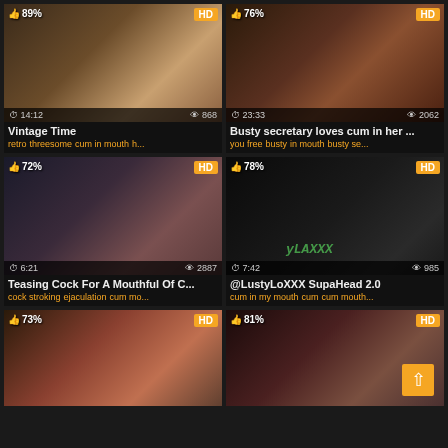[Figure (screenshot): Video thumbnail grid - adult video site with 6 video cards in 2-column layout]
Vintage Time
retro threesome cum in mouth h...
Busty secretary loves cum in her ...
you free busty in mouth busty se...
Teasing Cock For A Mouthful Of C...
cock stroking ejaculation cum mo...
@LustyLoXXX SupaHead 2.0
cum in my mouth cum cum mouth...